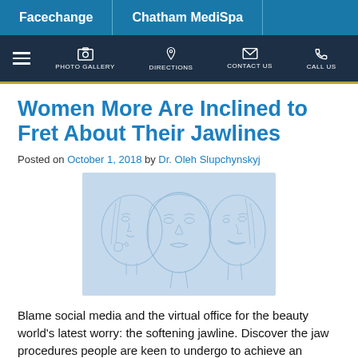Facechange | Chatham MediSpa
PHOTO GALLERY | DIRECTIONS | CONTACT US | CALL US
Women More Are Inclined to Fret About Their Jawlines
Posted on October 1, 2018 by Dr. Oleh Slupchynskyj
[Figure (illustration): Line illustration of three women's faces in blue tones, showing different profile and frontal angles, related to jawline aesthetics.]
Blame social media and the virtual office for the beauty world's latest worry: the softening jawline. Discover the jaw procedures people are keen to undergo to achieve an